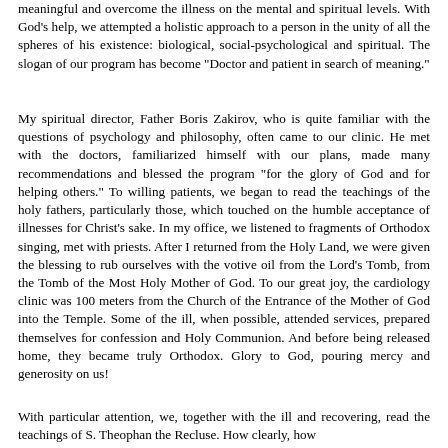meaningful and overcome the illness on the mental and spiritual levels. With God's help, we attempted a holistic approach to a person in the unity of all the spheres of his existence: biological, social-psychological and spiritual. The slogan of our program has become "Doctor and patient in search of meaning."
My spiritual director, Father Boris Zakirov, who is quite familiar with the questions of psychology and philosophy, often came to our clinic. He met with the doctors, familiarized himself with our plans, made many recommendations and blessed the program "for the glory of God and for helping others." To willing patients, we began to read the teachings of the holy fathers, particularly those, which touched on the humble acceptance of illnesses for Christ's sake. In my office, we listened to fragments of Orthodox singing, met with priests. After I returned from the Holy Land, we were given the blessing to rub ourselves with the votive oil from the Lord's Tomb, from the Tomb of the Most Holy Mother of God. To our great joy, the cardiology clinic was 100 meters from the Church of the Entrance of the Mother of God into the Temple. Some of the ill, when possible, attended services, prepared themselves for confession and Holy Communion. And before being released home, they became truly Orthodox. Glory to God, pouring mercy and generosity on us!
With particular attention, we, together with the ill and recovering, read the teachings of S. Theophan the Recluse. How clearly, how